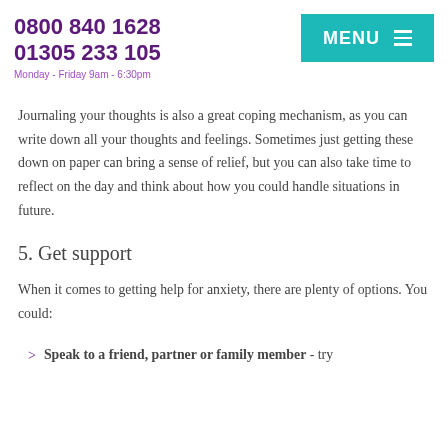0800 840 1628
01305 233 105
Monday - Friday 9am - 6:30pm
Journaling your thoughts is also a great coping mechanism, as you can write down all your thoughts and feelings. Sometimes just getting these down on paper can bring a sense of relief, but you can also take time to reflect on the day and think about how you could handle situations in future.
5. Get support
When it comes to getting help for anxiety, there are plenty of options. You could:
Speak to a friend, partner or family member - try